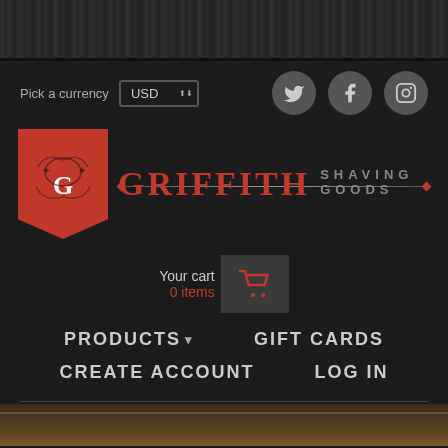[Figure (screenshot): Dark wood texture header strip at top of webpage]
Pick a currency  USD
[Figure (logo): Social media icons: Twitter, Facebook, Instagram — grey circles on dark background]
[Figure (logo): Griffith Shaving Goods logo — red shield badge with G letter crest on left, GRIFFITH in red serif font with SHAVING GOODS in grey spaced caps, decorative red diamond line]
Your cart
0 items
PRODUCTS ∨
GIFT CARDS
CREATE ACCOUNT
LOG IN
[Figure (photo): Partial bottom image showing warm brown tones, possibly shaving product photo]